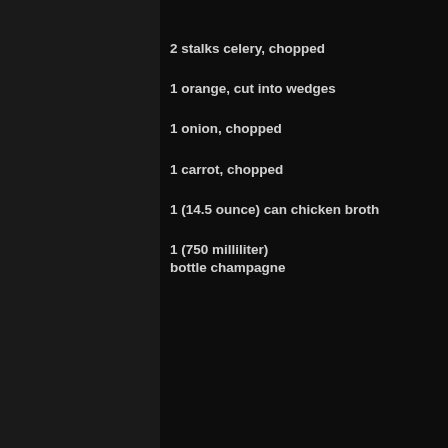2 stalks celery, chopped
1 orange, cut into wedges
1 onion, chopped
1 carrot, chopped
1 (14.5 ounce) can chicken broth
1 (750 milliliter) bottle champagne